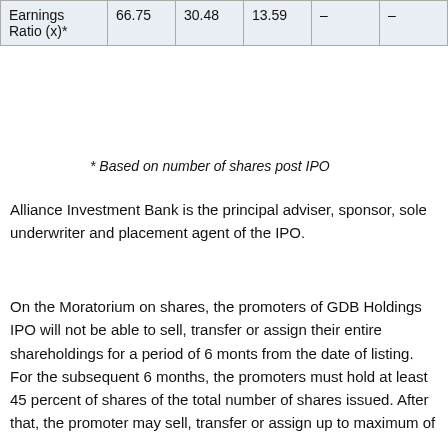| Earnings Ratio (x)* | 66.75 | 30.48 | 13.59 | – | – |
* Based on number of shares post IPO
Alliance Investment Bank is the principal adviser, sponsor, sole underwriter and placement agent of the IPO.
On the Moratorium on shares, the promoters of GDB Holdings IPO will not be able to sell, transfer or assign their entire shareholdings for a period of 6 monts from the date of listing. For the subsequent 6 months, the promoters must hold at least 45 percent of shares of the total number of shares issued. After that, the promoter may sell, transfer or assign up to maximum of